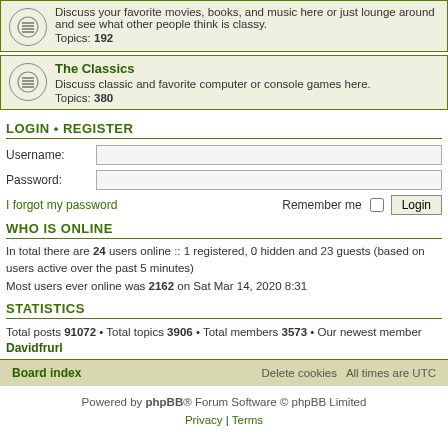Discuss your favorite movies, books, and music here or just lounge around and see what other people think is classy. Topics: 192
The Classics
Discuss classic and favorite computer or console games here. Topics: 380
LOGIN • REGISTER
Username:
Password:
I forgot my password  Remember me  Login
WHO IS ONLINE
In total there are 24 users online :: 1 registered, 0 hidden and 23 guests (based on users active over the past 5 minutes)
Most users ever online was 2162 on Sat Mar 14, 2020 8:31
STATISTICS
Total posts 91072 • Total topics 3906 • Total members 3573 • Our newest member Davidfrurl
Board index   Delete cookies   All times are UTC
Powered by phpBB® Forum Software © phpBB Limited
Privacy | Terms